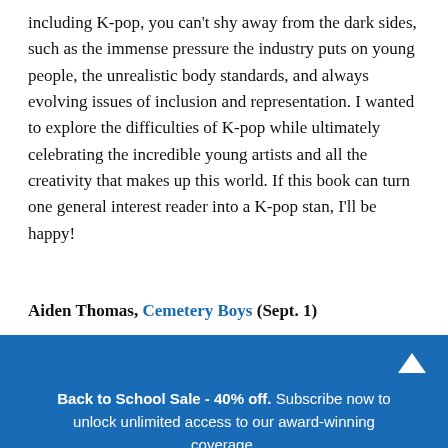including K-pop, you can't shy away from the dark sides, such as the immense pressure the industry puts on young people, the unrealistic body standards, and always evolving issues of inclusion and representation. I wanted to explore the difficulties of K-pop while ultimately celebrating the incredible young artists and all the creativity that makes up this world. If this book can turn one general interest reader into a K-pop stan, I'll be happy!
Aiden Thomas, Cemetery Boys (Sept. 1)
Back to School Sale - 40% off. Subscribe now to unlock unlimited access to our award-winning coverage.
SUBSCRIBE